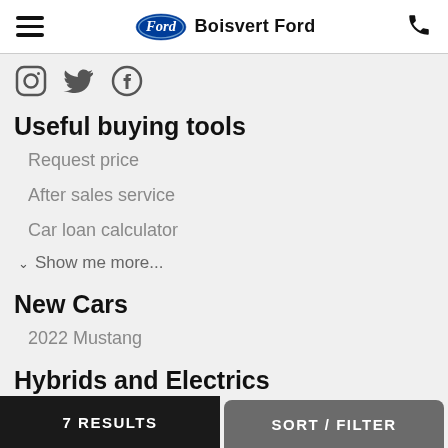Boisvert Ford
[Figure (logo): Ford oval logo with social media icons (Instagram, Twitter, Facebook)]
Useful buying tools
Request price
After sales service
Car loan calculator
Show me more...
New Cars
2022 Mustang
Hybrids and Electrics
2022 Escape Hybrid
7 RESULTS   SORT / FILTER